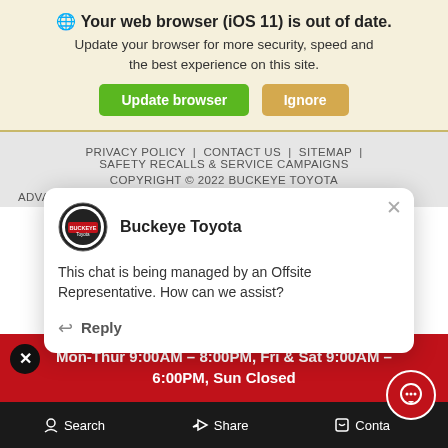🌐 Your web browser (iOS 11) is out of date. Update your browser for more security, speed and the best experience on this site.
Update browser | Ignore
PRIVACY POLICY | CONTACT US | SITEMAP | SAFETY RECALLS & SERVICE CAMPAIGNS
COPYRIGHT © 2022 BUCKEYE TOYOTA
ADVANCED AU...
[Figure (screenshot): Buckeye Toyota chat popup with logo, message: 'This chat is being managed by an Offsite Representative. How can we assist?' and a Reply button]
Mon-Thur 9:00AM – 8:00PM, Fri & Sat 9:00AM – 6:00PM, Sun Closed
Search | Share | Contact